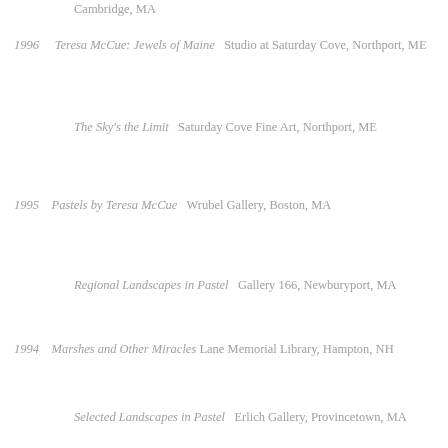Cambridge, MA
1996   Teresa McCue: Jewels of Maine   Studio at Saturday Cove, Northport, ME
The Sky's the Limit   Saturday Cove Fine Art, Northport, ME
1995   Pastels by Teresa McCue   Wrubel Gallery, Boston, MA
Regional Landscapes in Pastel   Gallery 166, Newburyport, MA
1994   Marshes and Other Miracles   Lane Memorial Library, Hampton, NH
Selected Landscapes in Pastel   Erlich Gallery, Provincetown, MA